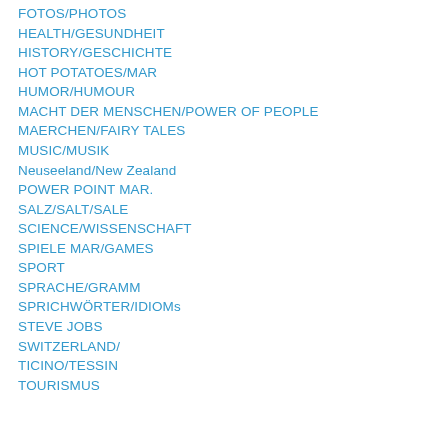FOTOS/PHOTOS
HEALTH/GESUNDHEIT
HISTORY/GESCHICHTE
HOT POTATOES/MAR
HUMOR/HUMOUR
MACHT DER MENSCHEN/POWER OF PEOPLE
MAERCHEN/FAIRY TALES
MUSIC/MUSIK
Neuseeland/New Zealand
POWER POINT MAR.
SALZ/SALT/SALE
SCIENCE/WISSENSCHAFT
SPIELE MAR/GAMES
SPORT
SPRACHE/GRAMM
SPRICHWÖRTER/IDIOMs
STEVE JOBS
SWITZERLAND/
TICINO/TESSIN
TOURISMUS